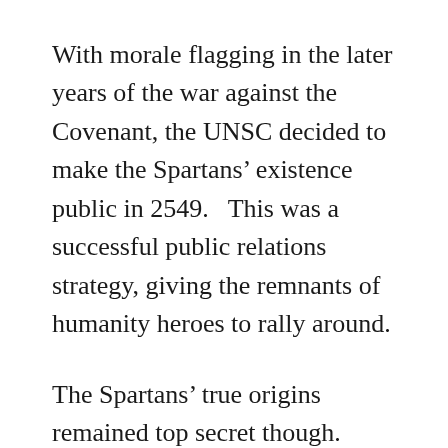With morale flagging in the later years of the war against the Covenant, the UNSC decided to make the Spartans' existence public in 2549.   This was a successful public relations strategy, giving the remnants of humanity heroes to rally around.
The Spartans' true origins remained top secret though.   Most people assumed that the Spartans are just highly skilled soldiers who received their superhuman physical abilities from their power armor.   As part of the UNSC's use of the Spartans to